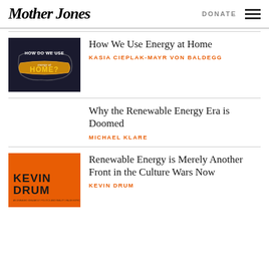Mother Jones | DONATE
[Figure (illustration): Thumbnail image: dark background with text 'HOW DO WE USE energy at HOME?' with US map outline in orange and chalk lettering]
How We Use Energy at Home
KASIA CIEPLAK-MAYR VON BALDEGG
Why the Renewable Energy Era is Doomed
MICHAEL KLARE
[Figure (illustration): Thumbnail image: orange background with bold black text 'KEVIN DRUM' and small print below]
Renewable Energy is Merely Another Front in the Culture Wars Now
KEVIN DRUM